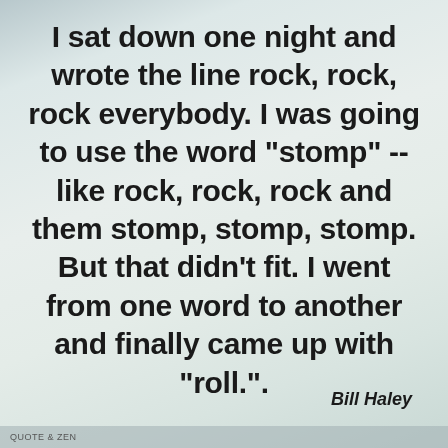I sat down one night and wrote the line rock, rock, rock everybody. I was going to use the word "stomp" -- like rock, rock, rock and them stomp, stomp, stomp. But that didn't fit. I went from one word to another and finally came up with "roll.".
Bill Haley